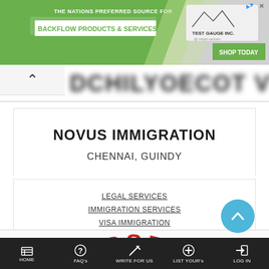[Figure (screenshot): Advertisement banner for Test Gauge Inc. with green background. Text reads: THE NATIONS PREFERRED SOURCE FOR BACKFLOW PRODUCTS & SERVICES. SHOP TODAY button on right.]
[Figure (screenshot): Blurred/obscured title text at top of content area.]
NOVUS IMMIGRATION
CHENNAI, GUINDY
LEGAL SERVICES
IMMIGRATION SERVICES
VISA IMMIGRATION
[Figure (illustration): Partial circular red stamp/seal reading OVERSEAS]
HOME  FAQ's  WRITE FOR US  LIST YOUR's  LOG IN